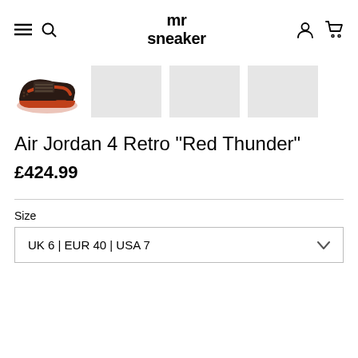mr sneaker
[Figure (photo): Air Jordan 4 Retro Red Thunder sneaker thumbnail image with 3 placeholder grey thumbnail images beside it]
Air Jordan 4 Retro "Red Thunder"
£424.99
Size
UK 6 | EUR 40 | USA 7